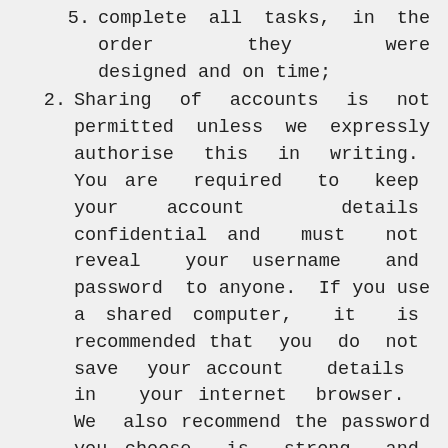5. complete all tasks, in the order they were designed and on time;
2. Sharing of accounts is not permitted unless we expressly authorise this in writing. You are required to keep your account details confidential and must not reveal your username and password to anyone. If you use a shared computer, it is recommended that you do not save your account details in your internet browser. We also recommend the password you choose is strong and secure, containing a combination of